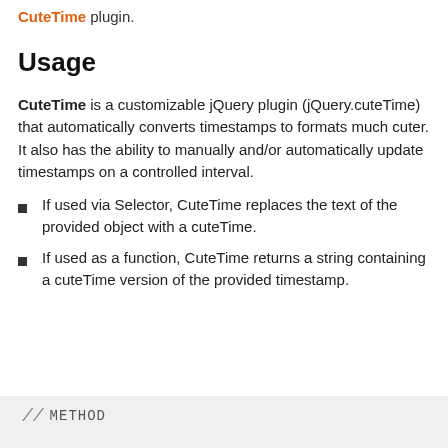CuteTime plugin.
Usage
CuteTime is a customizable jQuery plugin (jQuery.cuteTime) that automatically converts timestamps to formats much cuter. It also has the ability to manually and/or automatically update timestamps on a controlled interval.
If used via Selector, CuteTime replaces the text of the provided object with a cuteTime.
If used as a function, CuteTime returns a string containing a cuteTime version of the provided timestamp.
// METHOD